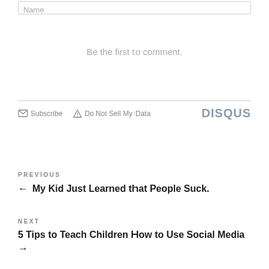Name
Be the first to comment.
Subscribe   Do Not Sell My Data   DISQUS
PREVIOUS
← My Kid Just Learned that People Suck.
NEXT
5 Tips to Teach Children How to Use Social Media →